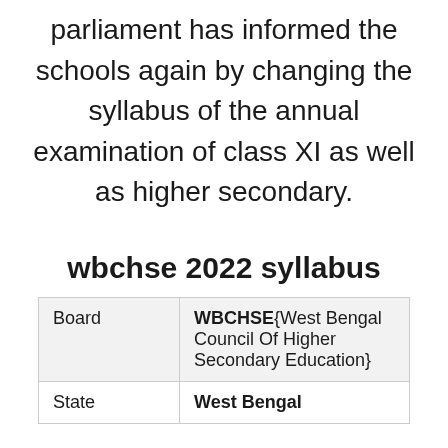parliament has informed the schools again by changing the syllabus of the annual examination of class XI as well as higher secondary.
wbchse 2022 syllabus
| Board | WBCHSE{West Bengal Council Of Higher Secondary Education} |
| State | West Bengal |